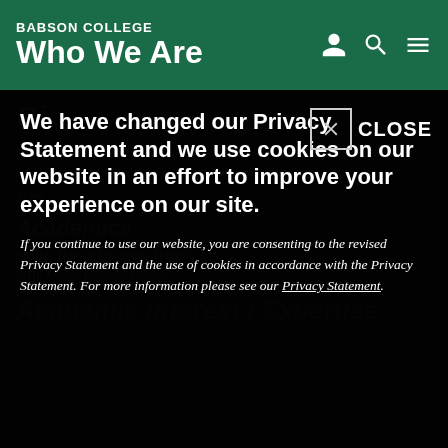BABSON COLLEGE — Who We Are
Bio
Ms. Gale is an educator, entrepreneur, business leader, and consultant with over 30 years of strategic, marketing, and operations experience. More
Academics
MBA, Harvard Business School
AB, Mount Holyoke College
Academic Interest / Expertise
We have changed our Privacy Statement and we use cookies on our website in an effort to improve your experience on our site.
If you continue to use our website, you are consenting to the revised Privacy Statement and the use of cookies in accordance with the Privacy Statement. For more information please see our Privacy Statement.